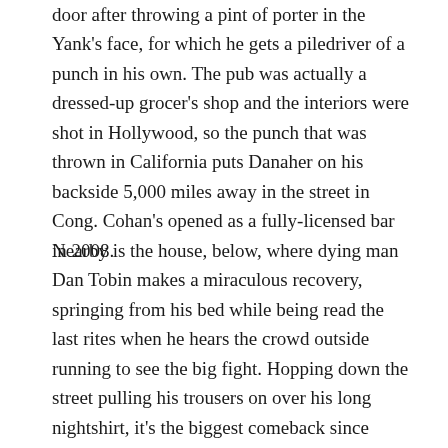door after throwing a pint of porter in the Yank's face, for which he gets a piledriver of a punch in his own. The pub was actually a dressed-up grocer's shop and the interiors were shot in Hollywood, so the punch that was thrown in California puts Danaher on his backside 5,000 miles away in the street in Cong. Cohan's opened as a fully-licensed bar in 2008.
Nearby is the house, below, where dying man Dan Tobin makes a miraculous recovery, springing from his bed while being read the last rites when he hears the crowd outside running to see the big fight. Hopping down the street pulling his trousers on over his long nightshirt, it's the biggest comeback since Lazarus. White-bearded Tobin was played by Francis